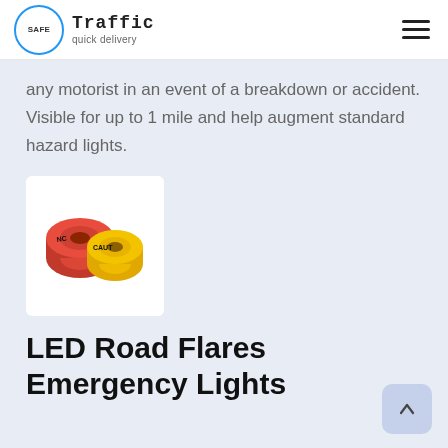SAFE Traffic quick delivery
any motorist in an event of a breakdown or accident. Visible for up to 1 mile and help augment standard hazard lights.
[Figure (photo): Two rolls of caution tape — one red and one yellow — with 'CAUTION' text visible on the yellow roll.]
LED Road Flares Emergency Lights